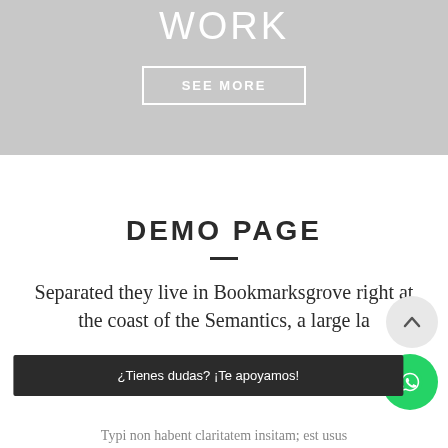work
SEE MORE
DEMO PAGE
Separated they live in Bookmarksgrove right at the coast of the Semantics, a large la
¿Tienes dudas? ¡Te apoyamos!
Typi non habent claritatem insitam; est usus